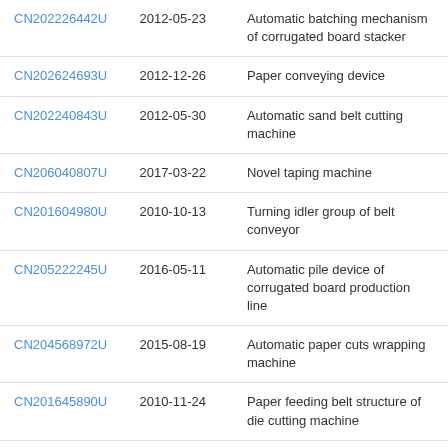| CN202226442U | 2012-05-23 | Automatic batching mechanism of corrugated board stacker |
| CN202624693U | 2012-12-26 | Paper conveying device |
| CN202240843U | 2012-05-30 | Automatic sand belt cutting machine |
| CN206040807U | 2017-03-22 | Novel taping machine |
| CN201604980U | 2010-10-13 | Turning idler group of belt conveyor |
| CN205222245U | 2016-05-11 | Automatic pile device of corrugated board production line |
| CN204568972U | 2015-08-19 | Automatic paper cuts wrapping machine |
| CN201645890U | 2010-11-24 | Paper feeding belt structure of die cutting machine |
| … | … | … |